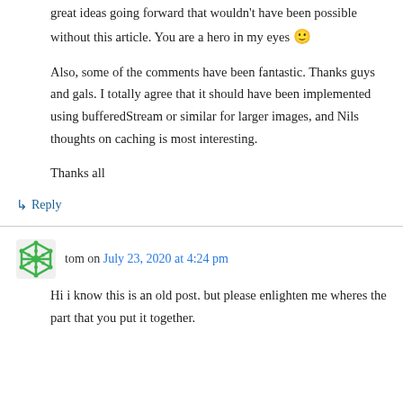great ideas going forward that wouldn't have been possible without this article. You are a hero in my eyes 🙂
Also, some of the comments have been fantastic. Thanks guys and gals. I totally agree that it should have been implemented using bufferedStream or similar for larger images, and Nils thoughts on caching is most interesting.
Thanks all
↳ Reply
tom on July 23, 2020 at 4:24 pm
Hi i know this is an old post. but please enlighten me wheres the part that you put it together.